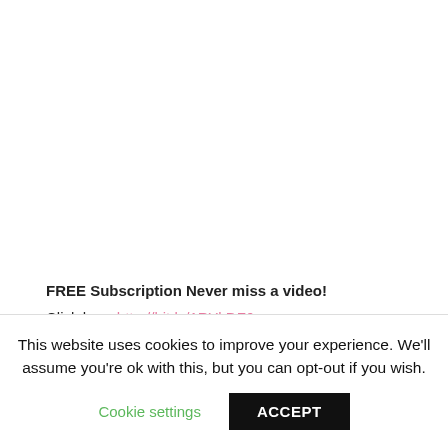FREE Subscription Never miss a video!
Click here http://bit.ly/1RYkDF6
This website uses cookies to improve your experience. We'll assume you're ok with this, but you can opt-out if you wish.
Cookie settings
ACCEPT